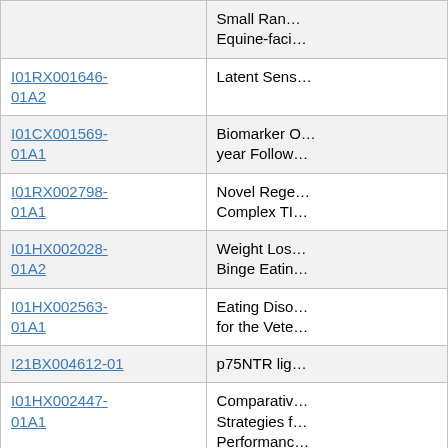| Award ID | Title |
| --- | --- |
|  | Small Ran... Equine-faci... |
| I01RX001646-01A2 | Latent Sens... |
| I01CX001569-01A1 | Biomarker O... year Follow... |
| I01RX002798-01A1 | Novel Rege... Complex TI... |
| I01HX002028-01A2 | Weight Los... Binge Eatin... |
| I01HX002563-01A1 | Eating Diso... for the Vete... |
| I21BX004612-01 | p75NTR lig... |
| I01HX002447-01A1 | Comparativ... Strategies f... Performanc... |
| I01CX001425-01 | Phenotypic... |
| I01BX000792-09A2 | New Epigen... Cells |